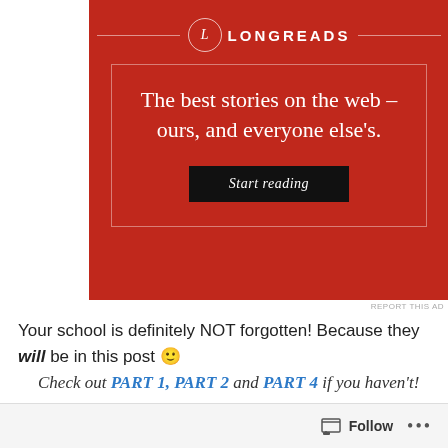[Figure (advertisement): Longreads advertisement on red background with logo, tagline 'The best stories on the web – ours, and everyone else's.' and a 'Start reading' button]
REPORT THIS AD
Your school is definitely NOT forgotten! Because they will be in this post 🙂
Check out PART 1, PART 2 and PART 4 if you haven't!
Here is the continued list of closed and merged schools in